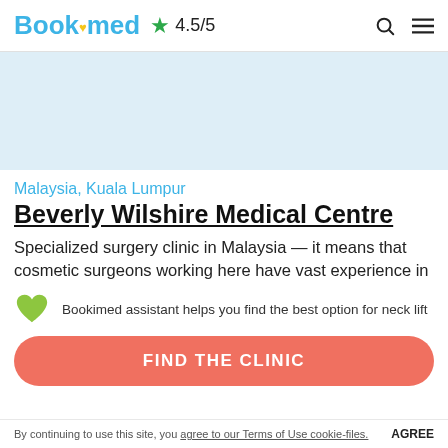Bookimed ★ 4.5/5
[Figure (photo): Light blue image placeholder area for clinic photo]
Malaysia, Kuala Lumpur
Beverly Wilshire Medical Centre
Specialized surgery clinic in Malaysia — it means that cosmetic surgeons working here have vast experience in
Bookimed assistant helps you find the best option for neck lift
FIND THE CLINIC
By continuing to use this site, you agree to our Terms of Use cookie-files. AGREE